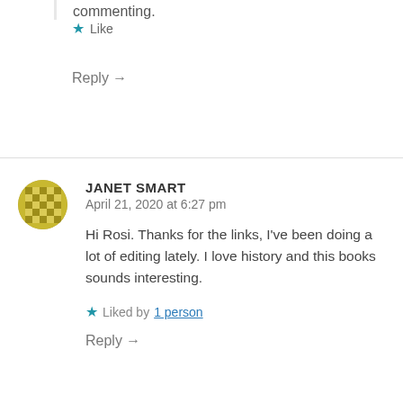commenting.
★ Like
Reply →
JANET SMART
April 21, 2020 at 6:27 pm
Hi Rosi. Thanks for the links, I've been doing a lot of editing lately. I love history and this books sounds interesting.
★ Liked by 1 person
Reply →